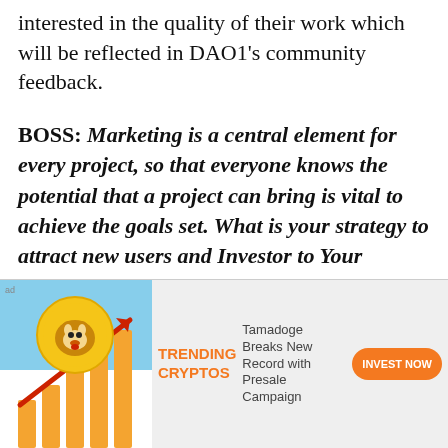interested in the quality of their work which will be reflected in DAO1's community feedback.
BOSS: Marketing is a central element for every project, so that everyone knows the potential that a project can bring is vital to achieve the goals set. What is your strategy to attract new users and Investor to Your platform and keep them long term?
[Figure (infographic): Advertisement banner showing a Shiba Inu dog coin with upward bar chart and arrow, labeled TRENDING CRYPTOS, with text 'Tamadoge Breaks New Record with Presale Campaign' and an orange INVEST NOW button]